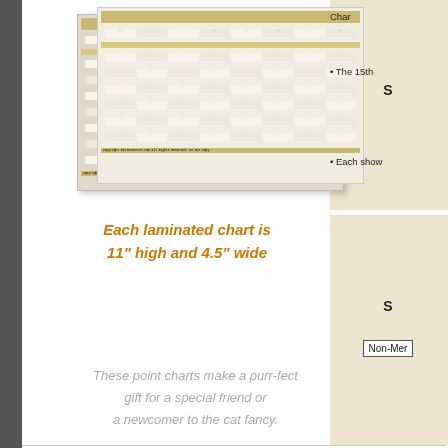[Figure (illustration): Laminated point chart shown as a small preview image, depicting rows of cat show scoring data in a grid/table format with black and red text]
Each laminated chart is 11" high and 4.5" wide
Char
The 15th
Each show
S
S
Non-Mer
These point charts make a purr-fect gift for a special friend or a newcomer to the cat fancy.